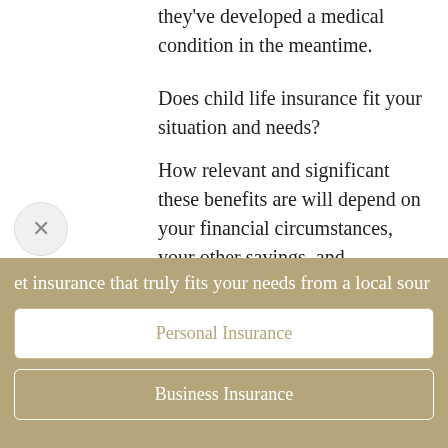they've developed a medical condition in the meantime.
Does child life insurance fit your situation and needs?
How relevant and significant these benefits are will depend on your financial circumstances, your other savings, and investments and your attitude toward risk.
et insurance that truly fits your needs from a local sour
Personal Insurance
Business Insurance